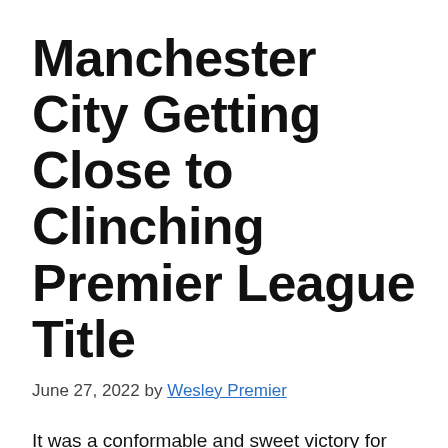Manchester City Getting Close to Clinching Premier League Title
June 27, 2022 by Wesley Premier
It was a conformable and sweet victory for Manchester City this week as the Citizens enjoyed a conformable win over relegation threatening side, West Brom. City was not